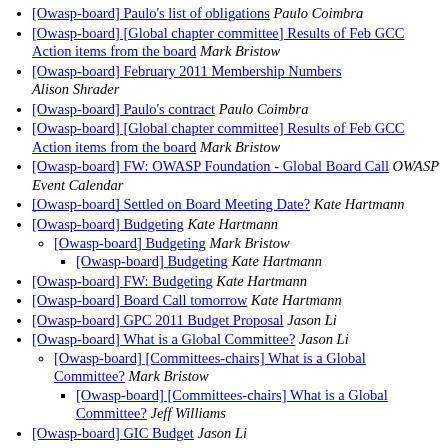[Owasp-board] Paulo's list of obligations  Paulo Coimbra
[Owasp-board] [Global chapter committee] Results of Feb GCC Action items from the board  Mark Bristow
[Owasp-board] February 2011 Membership Numbers  Alison Shrader
[Owasp-board] Paulo's contract  Paulo Coimbra
[Owasp-board] [Global chapter committee] Results of Feb GCC Action items from the board  Mark Bristow
[Owasp-board] FW: OWASP Foundation - Global Board Call  OWASP Event Calendar
[Owasp-board] Settled on Board Meeting Date?  Kate Hartmann
[Owasp-board] Budgeting  Kate Hartmann
[Owasp-board] Budgeting  Mark Bristow
[Owasp-board] Budgeting  Kate Hartmann
[Owasp-board] FW: Budgeting  Kate Hartmann
[Owasp-board] Board Call tomorrow  Kate Hartmann
[Owasp-board] GPC 2011 Budget Proposal  Jason Li
[Owasp-board] What is a Global Committee?  Jason Li
[Owasp-board] [Committees-chairs] What is a Global Committee?  Mark Bristow
[Owasp-board] [Committees-chairs] What is a Global Committee?  Jeff Williams
[Owasp-board] GIC Budget  Jason Li
[Owasp-board] GIC Budget  Jason Li
[Owasp-board] FIRST and OWASP relations  Mark Brist...